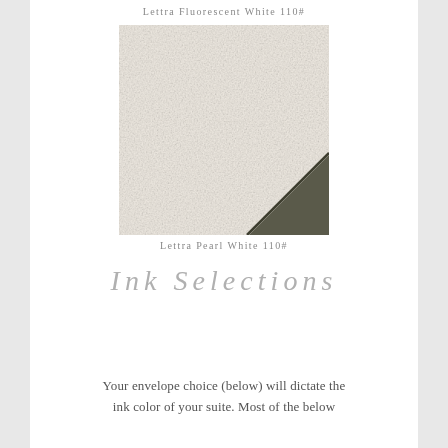Lettra Fluorescent White 110#
[Figure (photo): Close-up photograph of Lettra Pearl White 110# paper stock showing textured surface with a dark diagonal line in lower right corner]
Lettra Pearl White 110#
Ink Selections
Your envelope choice (below) will dictate the ink color of your suite. Most of the below